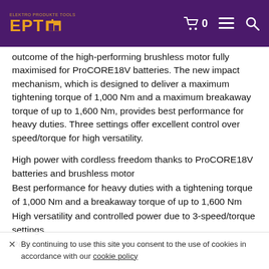EPT [logo with cart icon, menu icon, search icon]
outcome of the high-performing brushless motor fully maximised for ProCORE18V batteries. The new impact mechanism, which is designed to deliver a maximum tightening torque of 1,000 Nm and a maximum breakaway torque of up to 1,600 Nm, provides best performance for heavy duties. Three settings offer excellent control over speed/torque for high versatility.
High power with cordless freedom thanks to ProCORE18V batteries and brushless motor
Best performance for heavy duties with a tightening torque of 1,000 Nm and a breakaway torque of up to 1,600 Nm
High versatility and controlled power due to 3-speed/torque settings
Perfect for metal applications with machine screws
✕ By continuing to use this site you consent to the use of cookies in accordance with our cookie policy